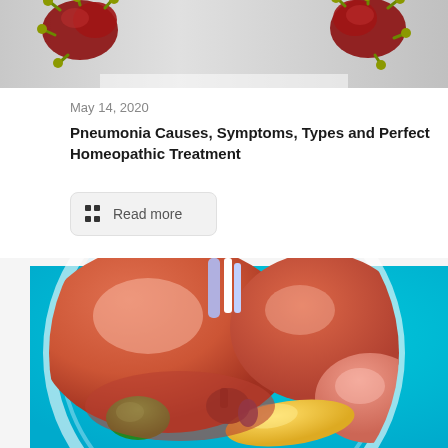[Figure (illustration): Top portion of a medical illustration showing bacteria/microorganisms (pneumonia-related) on a grey background, partially cropped]
May 14, 2020
Pneumonia Causes, Symptoms, Types and Perfect Homeopathic Treatment
Read more
[Figure (illustration): 3D medical illustration of human liver and abdominal organs (liver, gallbladder, pancreas, stomach) shown inside a circular magnifying frame on a cyan/turquoise background]